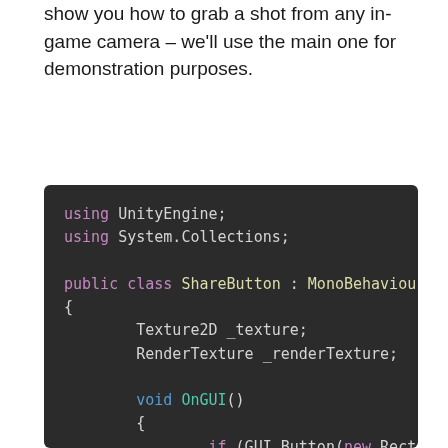show you how to grab a shot from any in-game camera – we'll use the main one for demonstration purposes.
[Figure (screenshot): Code editor screenshot showing a Unity C# script for a ShareButton class with MonoBehaviour, using UnityEngine and System.Collections, with Texture2D and RenderTexture fields, OnGUI method with a GUI.Button creating a Rect, and StartCoroutine(PostToInstagram()) call.]